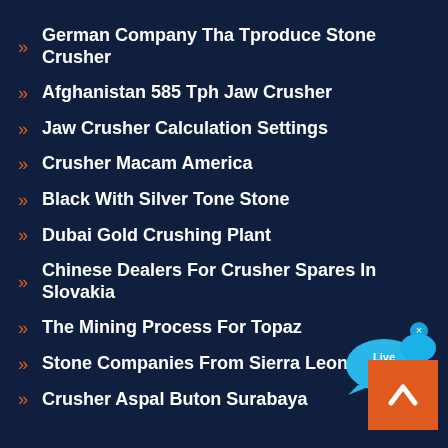German Company Tha Tproduce Stone Crusher
Afghanistan 585 Tph Jaw Crusher
Jaw Crusher Calculation Settings
Crusher Macam America
Black With Silver Tone Stone
Dubai Gold Crushing Plant
Chinese Dealers For Crusher Spares In Slovakia
The Mining Process For Topaz
Stone Companies From Sierra Leone
Crusher Aspal Buton Surabaya
[Figure (illustration): Live Chat bubble icon with blue speech bubble and text 'Live Chat']
[Figure (illustration): Orange back-to-top button with white upward chevron arrow]